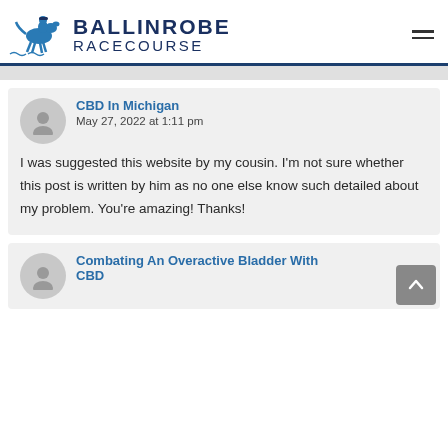BALLINROBE RACECOURSE
CBD In Michigan
May 27, 2022 at 1:11 pm
I was suggested this website by my cousin. I'm not sure whether this post is written by him as no one else know such detailed about my problem. You're amazing! Thanks!
Combating An Overactive Bladder With CBD